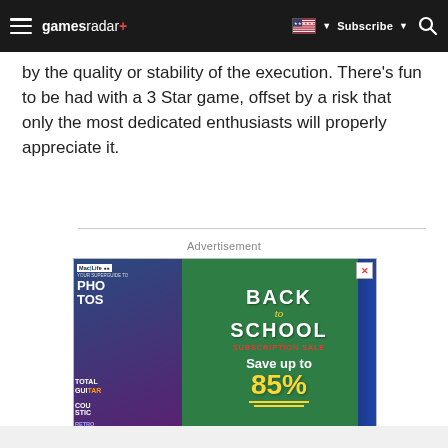gamesradar+ | Subscribe | Search
by the quality or stability of the execution. There's fun to be had with a 3 Star game, offset by a risk that only the most dedicated enthusiasts will properly appreciate it.
Advertisement
[Figure (photo): Back to School Subscription Sale advertisement for Mac Life magazine showing 'Save up to 85%' on a green chalkboard background with school supplies and magazine covers.]